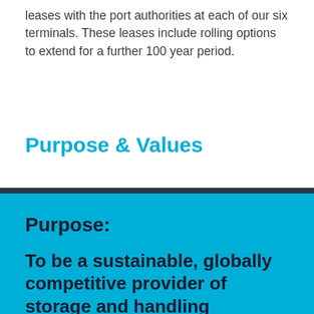leases with the port authorities at each of our six terminals.  These leases include rolling options to extend for a further 100 year period.
Purpose & Values
Purpose:
To be a sustainable, globally competitive provider of storage and handling solutions for bulk